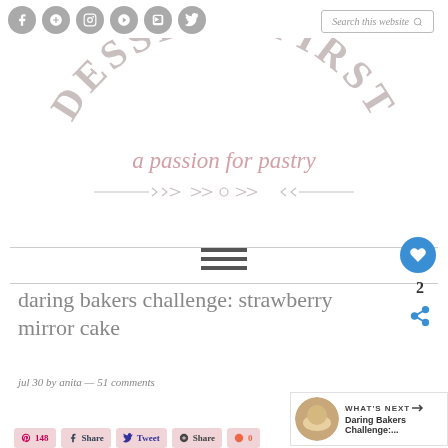Social icons: Facebook, Google+, Instagram, Pinterest, RSS, Twitter
Search this website
DESSERT FIRST
a passion for pastry
[Figure (other): Decorative ornamental divider with arrows and floral motifs]
[Figure (other): Hamburger navigation menu icon (three horizontal lines)]
[Figure (other): Blue circular favorite/heart button with count of 2 and share button]
daring bakers challenge: strawberry mirror cake
jul 30 by anita — 51 comments
[Figure (other): What's Next panel showing thumbnail and text: Daring Bakers Challenge:....]
148  Share  Tweet  Share  0